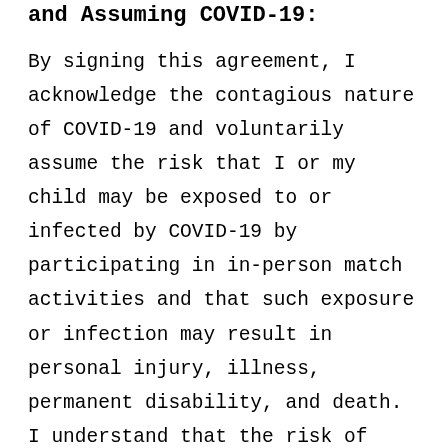and Assuming COVID-19:
By signing this agreement, I acknowledge the contagious nature of COVID-19 and voluntarily assume the risk that I or my child may be exposed to or infected by COVID-19 by participating in in-person match activities and that such exposure or infection may result in personal injury, illness, permanent disability, and death. I understand that the risk of becoming exposed to or infected by COVID-19 may result from the actions, omissions, or negligence of myself and others, including, but not limited to,